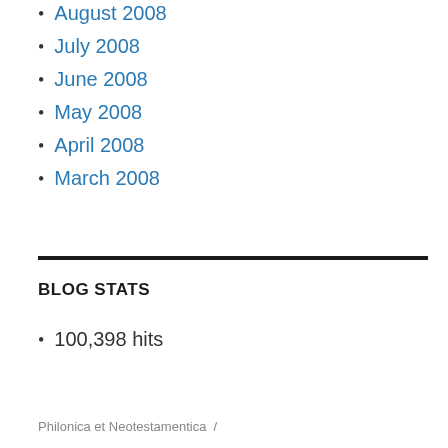August 2008
July 2008
June 2008
May 2008
April 2008
March 2008
BLOG STATS
100,398 hits
Philonica et Neotestamentica  /